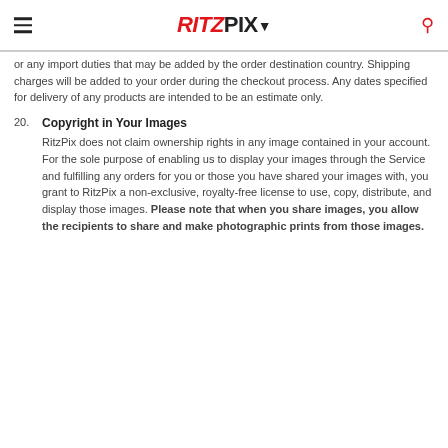RITZPIX
or any import duties that may be added by the order destination country. Shipping charges will be added to your order during the checkout process. Any dates specified for delivery of any products are intended to be an estimate only.
20. Copyright in Your Images
RitzPix does not claim ownership rights in any image contained in your account. For the sole purpose of enabling us to display your images through the Service and fulfilling any orders for you or those you have shared your images with, you grant to RitzPix a non-exclusive, royalty-free license to use, copy, distribute, and display those images. Please note that when you share images, you allow the recipients to share and make photographic prints from those images.